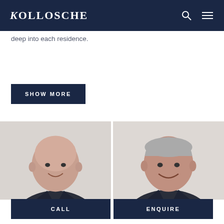KOLLOSCHE
deep into each residence.
SHOW MORE
[Figure (photo): Professional headshot of a bald middle-aged man in a dark pinstripe suit with a light blue shirt, smiling, on a light grey background]
[Figure (photo): Professional headshot of a grey-haired middle-aged man in a dark suit with a white shirt, smiling broadly, on a light grey background]
CALL
ENQUIRE